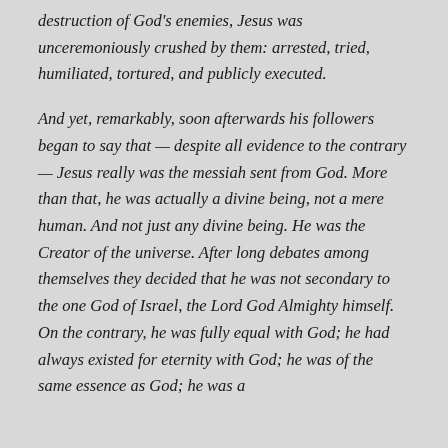destruction of God's enemies, Jesus was unceremoniously crushed by them: arrested, tried, humiliated, tortured, and publicly executed.
And yet, remarkably, soon afterwards his followers began to say that — despite all evidence to the contrary — Jesus really was the messiah sent from God. More than that, he was actually a divine being, not a mere human. And not just any divine being. He was the Creator of the universe. After long debates among themselves they decided that he was not secondary to the one God of Israel, the Lord God Almighty himself. On the contrary, he was fully equal with God; he had always existed for eternity with God; he was of the same essence as God; he was a